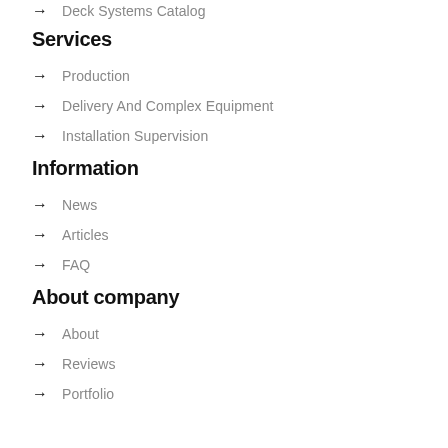→ Deck Systems Catalog
Services
→ Production
→ Delivery And Complex Equipment
→ Installation Supervision
Information
→ News
→ Articles
→ FAQ
About company
→ About
→ Reviews
→ Portfolio